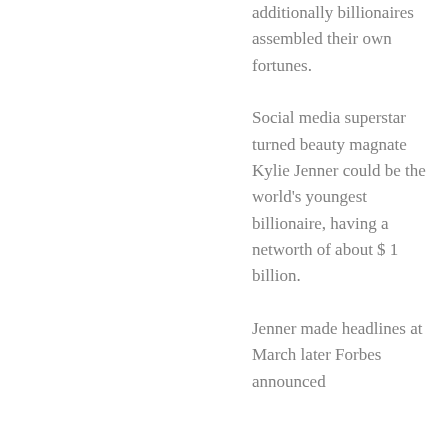additionally billionaires assembled their own fortunes. Social media superstar turned beauty magnate Kylie Jenner could be the world's youngest billionaire, having a networth of about $ 1 billion. Jenner made headlines at March later Forbes announced